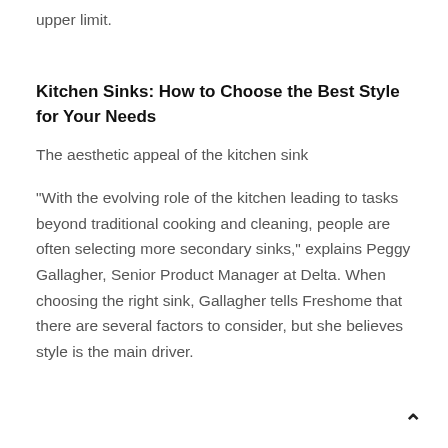upper limit.
Kitchen Sinks: How to Choose the Best Style for Your Needs
The aesthetic appeal of the kitchen sink
“With the evolving role of the kitchen leading to tasks beyond traditional cooking and cleaning, people are often selecting more secondary sinks,” explains Peggy Gallagher, Senior Product Manager at Delta. When choosing the right sink, Gallagher tells Freshome that there are several factors to consider, but she believes style is the main driver.